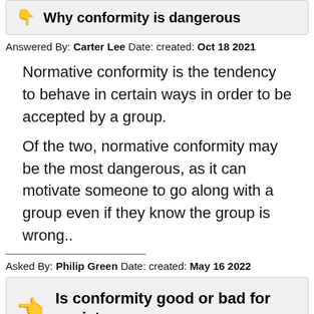Why conformity is dangerous
Answered By: Carter Lee Date: created: Oct 18 2021
Normative conformity is the tendency to behave in certain ways in order to be accepted by a group.
Of the two, normative conformity may be the most dangerous, as it can motivate someone to go along with a group even if they know the group is wrong..
Asked By: Philip Green Date: created: May 16 2022
Is conformity good or bad for society
Answered By: Roger Bryant Date: created: May 17 2022
In a conformist society, people lose